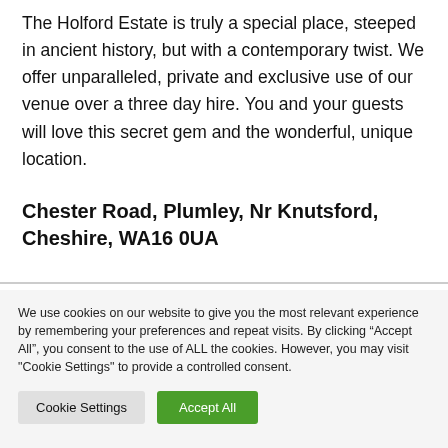The Holford Estate is truly a special place, steeped in ancient history, but with a contemporary twist. We offer unparalleled, private and exclusive use of our venue over a three day hire. You and your guests will love this secret gem and the wonderful, unique location.
Chester Road, Plumley, Nr Knutsford, Cheshire, WA16 0UA
We use cookies on our website to give you the most relevant experience by remembering your preferences and repeat visits. By clicking “Accept All”, you consent to the use of ALL the cookies. However, you may visit "Cookie Settings" to provide a controlled consent.